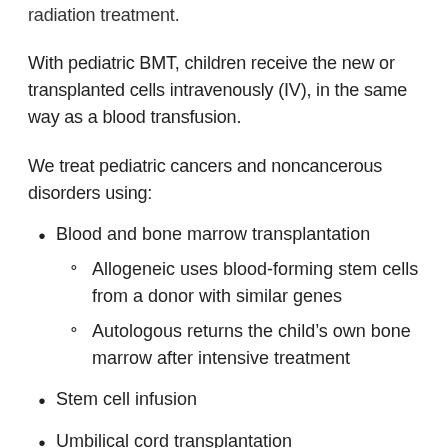radiation treatment.
With pediatric BMT, children receive the new or transplanted cells intravenously (IV), in the same way as a blood transfusion.
We treat pediatric cancers and noncancerous disorders using:
Blood and bone marrow transplantation
Allogeneic uses blood-forming stem cells from a donor with similar genes
Autologous returns the child's own bone marrow after intensive treatment
Stem cell infusion
Umbilical cord transplantation
T-cell therapies